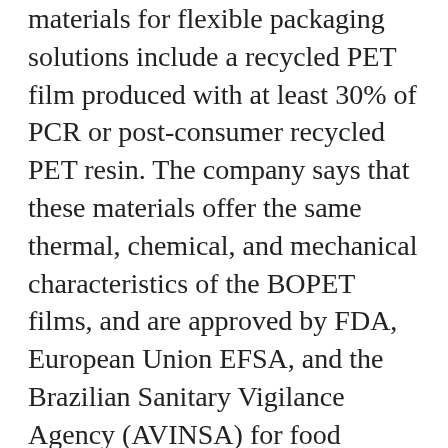materials for flexible packaging solutions include a recycled PET film produced with at least 30% of PCR or post-consumer recycled PET resin. The company says that these materials offer the same thermal, chemical, and mechanical characteristics of the BOPET films, and are approved by FDA, European Union EFSA, and the Brazilian Sanitary Vigilance Agency (AVINSA) for food contact.
Advertisement
[Figure (illustration): AutomationWorld advertisement banner with dark blue background featuring a close-up of a camera lens with glowing blue particle effects. Text reads 'AutomationWorld' logo and 'MACHINE VISION- SENSORS FAQ' in large white bold text. A small close/X button in the top right corner.]